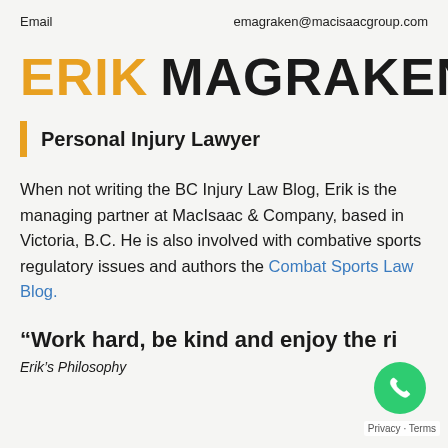Email    emagraken@macisaacgroup.com
ERIK MAGRAKEN
Personal Injury Lawyer
When not writing the BC Injury Law Blog, Erik is the managing partner at MacIsaac & Company, based in Victoria, B.C. He is also involved with combative sports regulatory issues and authors the Combat Sports Law Blog.
“Work hard, be kind and enjoy the ri…
Erik’s Philosophy